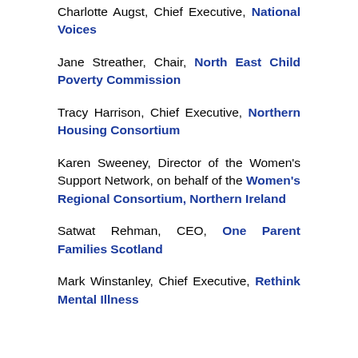Charlotte Augst, Chief Executive, National Voices
Jane Streather, Chair, North East Child Poverty Commission
Tracy Harrison, Chief Executive, Northern Housing Consortium
Karen Sweeney, Director of the Women's Support Network, on behalf of the Women's Regional Consortium, Northern Ireland
Satwat Rehman, CEO, One Parent Families Scotland
Mark Winstanley, Chief Executive, Rethink Mental Illness